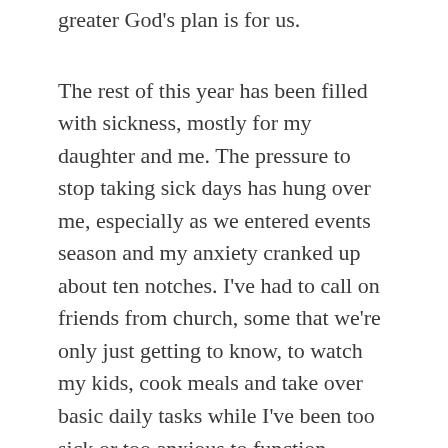greater God's plan is for us.
The rest of this year has been filled with sickness, mostly for my daughter and me. The pressure to stop taking sick days has hung over me, especially as we entered events season and my anxiety cranked up about ten notches. I've had to call on friends from church, some that we're only just getting to know, to watch my kids, cook meals and take over basic daily tasks while I've been too sick or too anxious to function.
So what's the point of me telling all this? I like to think I live an authentic life – my instagram is proof that I'm not all about glossy photos that paint a picture perfect life. I wish I could do that but it isn't me and frankly I don't have the time or effort to put into it. But another part of me